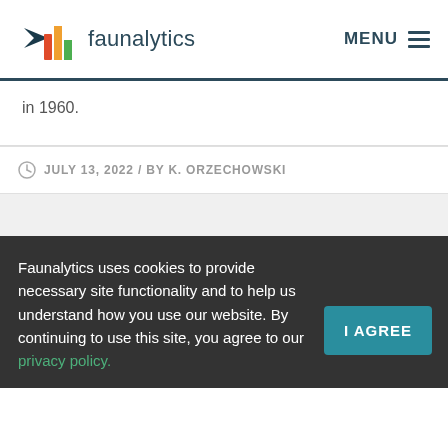faunalytics  MENU
in 1960.
JULY 13, 2022 / BY K. ORZECHOWSKI
Faunalytics uses cookies to provide necessary site functionality and to help us understand how you use our website. By continuing to use this site, you agree to our privacy policy.